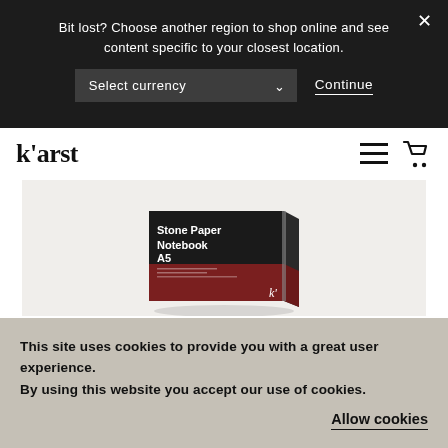Bit lost? Choose another region to shop online and see content specific to your closest location.
Select currency
Continue
[Figure (screenshot): Karst website header with logo, hamburger menu icon, and shopping cart icon on white navbar]
[Figure (photo): Karst Stone Paper Notebook A5 product with black top and dark red/maroon bottom cover, shown at an angle]
Notebooks
This site uses cookies to provide you with a great user experience. By using this website you accept our use of cookies.
Allow cookies